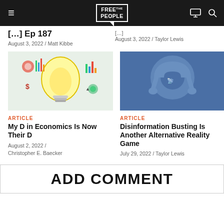Free the People — navigation bar with logo, hamburger menu, monitor icon, search icon
Ep 187
August 3, 2022 / Matt Kibbe
August 3, 2022 / Taylor Lewis
[Figure (illustration): Colorful illustration of a glowing light bulb surrounded by business and economics icons: pie charts, bar charts, gears, graphs, arrows, dollar sign, clocks]
[Figure (illustration): Blue background with NPR headphones logo — large headphones with NPR text and radio tower signal icon in the center]
ARTICLE
ARTICLE
My D in Economics Is Now Their D
Disinformation Busting Is Another Alternative Reality Game
August 2, 2022 /
Christopher E. Baecker
July 29, 2022 / Taylor Lewis
ADD COMMENT